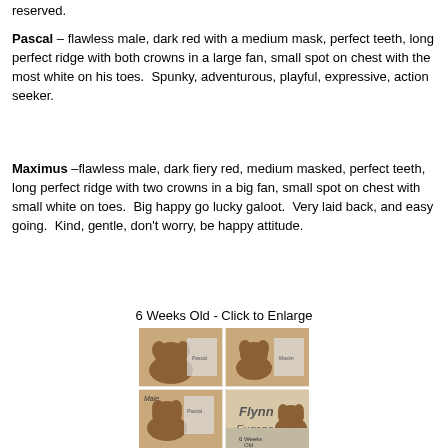reserved.
Pascal – flawless male, dark red with a medium mask, perfect teeth, long perfect ridge with both crowns in a large fan, small spot on chest with the most white on his toes.  Spunky, adventurous, playful, expressive, action seeker.
Maximus –flawless male, dark fiery red, medium masked, perfect teeth, long perfect ridge with two crowns in a big fan, small spot on chest with small white on toes.  Big happy go lucky galoot.  Very laid back, and easy going.  Kind, gentle, don't worry, be happy attitude.
6 Weeks Old - Click to Enlarge
[Figure (photo): Collage of Rhodesian Ridgeback puppies at 6 weeks old, showing multiple puppies in a grid of photos with text overlays including 'Male', 'Flynn Eugene', and '6 Weeks Old']